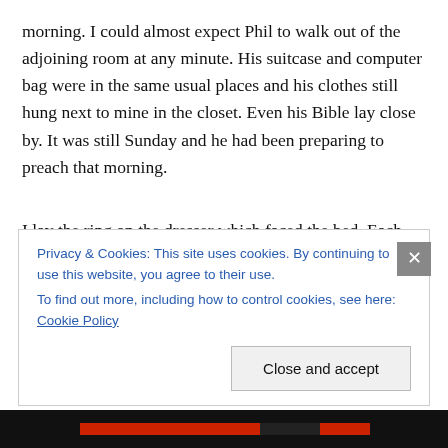morning. I could almost expect Phil to walk out of the adjoining room at any minute. His suitcase and computer bag were in the same usual places and his clothes still hung next to mine in the closet. Even his Bible lay close by. It was still Sunday and he had been preparing to preach that morning.
I lay the ring on the dresser which faced the bed. Each evening as I returned from the hospital in Calgary and entered the room, it would catch the corner of my eye, a haunting reminder that my husband's life still hung precariously in the balance. For weeks it lay there alone
Privacy & Cookies: This site uses cookies. By continuing to use this website, you agree to their use. To find out more, including how to control cookies, see here: Cookie Policy
Close and accept